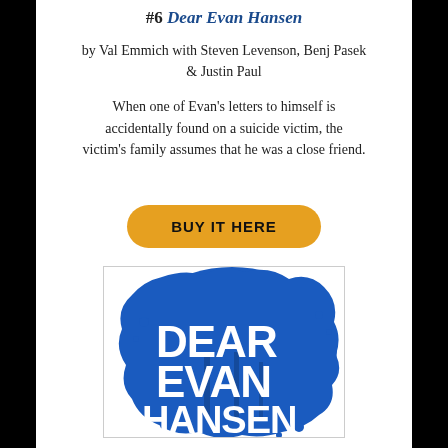#6 Dear Evan Hansen
by Val Emmich with Steven Levenson, Benj Pasek & Justin Paul
When one of Evan's letters to himself is accidentally found on a suicide victim, the victim's family assumes that he was a close friend.
BUY IT HERE
[Figure (illustration): Book cover of Dear Evan Hansen showing bold white text on a blue splattered paint/tree background]